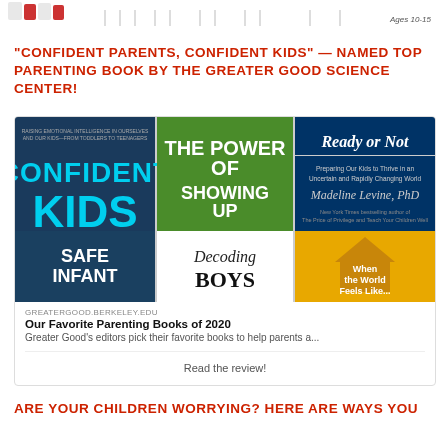[Figure (illustration): Top partial image showing illustrated characters and ticket-like graphics with text 'Ages 10-15']
“CONFIDENT PARENTS, CONFIDENT KIDS” — NAMED TOP PARENTING BOOK BY THE GREATER GOOD SCIENCE CENTER!
[Figure (screenshot): Screenshot of Greater Good Science Center article showing book covers: Confident Kids, The Power of Showing Up, Ready or Not, Safe Infant (partial), Decoding Boys, When the World Feels Like... with text 'GREATERGOOD.BERKELEY.EDU - Our Favorite Parenting Books of 2020 - Greater Good's editors pick their favorite books to help parents a...' and 'Read the review!']
ARE YOUR CHILDREN WORRYING? HERE ARE WAYS YOU